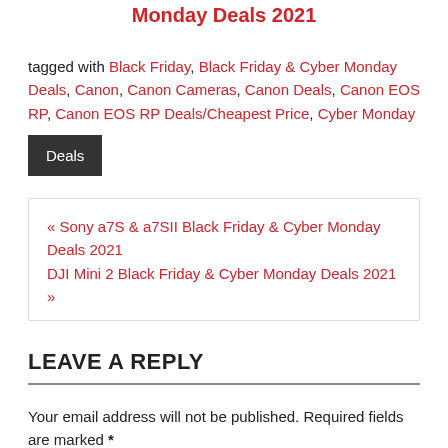Monday Deals 2021
tagged with Black Friday, Black Friday & Cyber Monday Deals, Canon, Canon Cameras, Canon Deals, Canon EOS RP, Canon EOS RP Deals/Cheapest Price, Cyber Monday
Deals
« Sony a7S & a7SII Black Friday & Cyber Monday Deals 2021
DJI Mini 2 Black Friday & Cyber Monday Deals 2021 »
LEAVE A REPLY
Your email address will not be published. Required fields are marked *